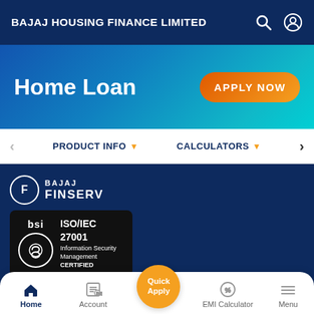BAJAJ HOUSING FINANCE LIMITED
Home Loan
APPLY NOW
PRODUCT INFO ▾   CALCULATORS ▾
[Figure (logo): Bajaj Finserv logo with circular F icon and text BAJAJ FINSERV]
[Figure (logo): BSI ISO/IEC 27001 Information Security Management Certified badge on black background]
© 2022 Bajaj Housing Finance Limited
Home | Account | Quick Apply | EMI Calculator | Menu